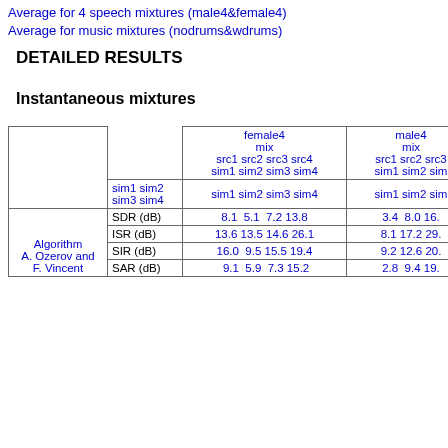Average for 4 speech mixtures (male4&female4)
Average for music mixtures (nodrums&wdrums)
DETAILED RESULTS
Instantaneous mixtures
|  |  | female4 mix src1 src2 src3 src4 sim1 sim2 sim3 sim4 | male4 mix src1 src2 src3 src4 sim1 sim2 sim3 sim4 |
| --- | --- | --- | --- |
| sim1 sim2 sim3 sim4 | SDR (dB) | 8.1  5.1  7.2 13.8 | 3.4  8.0 16. |
| Algorithm A. Ozerov and F. Vincent | ISR (dB) | 13.6 13.5 14.6 26.1 | 8.1 17.2 29. |
|  | SIR (dB) | 16.0  9.5 15.5 19.4 | 9.2 12.6 20. |
|  | SAR (dB) | 9.1  5.9  7.3 15.2 | 2.8  9.4 19. |